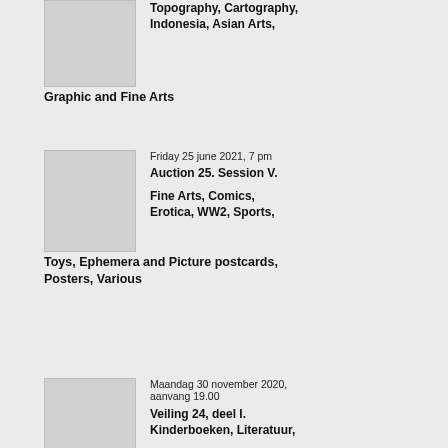[Figure (photo): Thumbnail image placeholder, light gray rectangle]
Topography, Cartography, Indonesia, Asian Arts, Graphic and Fine Arts
[Figure (photo): Thumbnail image placeholder, light gray rectangle]
Friday 25 june 2021, 7 pm
Auction 25. Session V.
Fine Arts, Comics, Erotica, WW2, Sports, Toys, Ephemera and Picture postcards, Posters, Various
[Figure (photo): Thumbnail image placeholder, light gray rectangle]
Maandag 30 november 2020, aanvang 19.00
Veiling 24, deel I. Kinderboeken, Literatuur, Oude boeken, Manuscripten, Kookboeken,